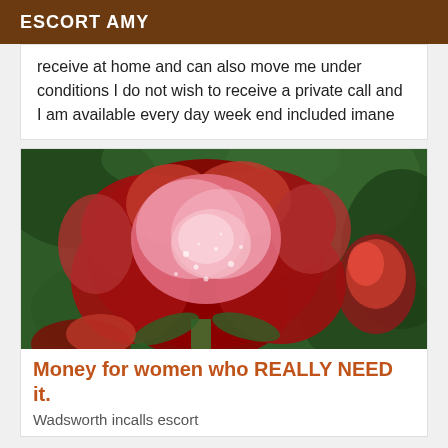ESCORT AMY
receive at home and can also move me under conditions I do not wish to receive a private call and I am available every day week end included imane
[Figure (photo): Close-up photograph of a red rose with water droplets, with green blurred background and another red rose bud visible in the background.]
Money for women who REALLY NEED it.
Wadsworth incalls escort